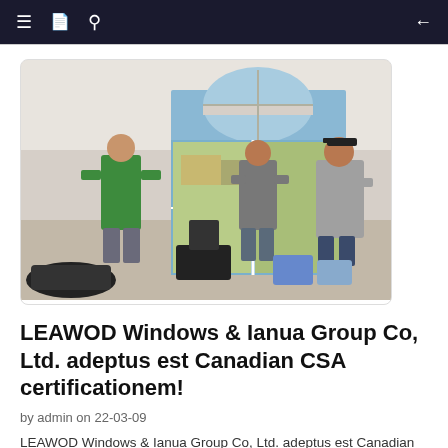Navigation bar with menu, document, search icons and back arrow
[Figure (photo): Three workers installing a large sliding glass door with an arched window above it inside a residential room. One worker in a green shirt stands to the left, one worker in grey stands in the center near the door frame, and another worker in a grey long-sleeve shirt stands to the right. Various tools and equipment including a trolley, bags, and supplies are on the floor.]
LEAWOD Windows & Ianua Group Co, Ltd. adeptus est Canadian CSA certificationem!
by admin on 22-03-09
LEAWOD Windows & Ianua Group Co, Ltd. adeptus est Canadian CSA certificationem!